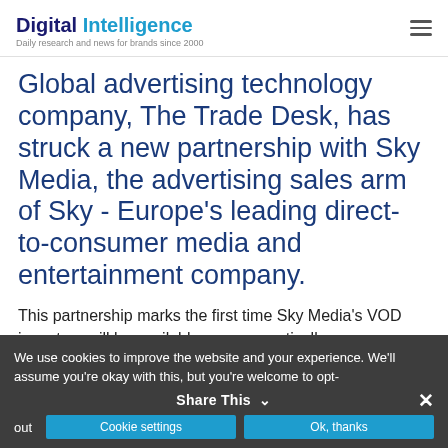Digital Intelligence – Daily research and news for brands since 2000
Global advertising technology company, The Trade Desk, has struck a new partnership with Sky Media, the advertising sales arm of Sky - Europe's leading direct-to-consumer media and entertainment company.
This partnership marks the first time Sky Media's VOD inventory will be available programmatically,
We use cookies to improve the website and your experience. We'll assume you're okay with this, but you're welcome to opt-out. Cookie settings. Ok, thanks. Share This.